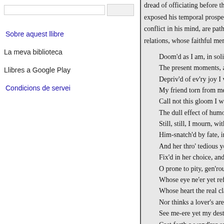Sobre aquest llibre
La meva biblioteca
Llibres a Google Play
Condicions de servei
dread of officiating before the as exposed his temporal prospects, conflict in his mind, are pathetc relations, whose faithful memory
Doom'd as I am, in solitud The present moments, and m Depriv'd of ev'ry joy I value My friend torn from me, an Call not this gloom I wear, The dull effect of humour, d Still, still, I mourn, with ead Him-snatch'd by fate, in ean And her thro' tedious years Fix'd in her choice, and fait O prone to pity, gen'rous, a Whose eye ne'er yet refus'd Whose heart the real claim Nor thinks a lover's are but See me-ere yet my destin'd Cast forth a wand'rer on a w See me, neglected on the w Each dear companion of my